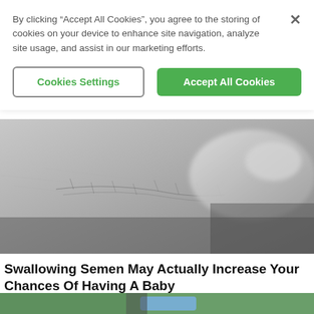By clicking “Accept All Cookies”, you agree to the storing of cookies on your device to enhance site navigation, analyze site usage, and assist in our marketing efforts.
Cookies Settings
Accept All Cookies
[Figure (photo): Black and white close-up photo of skin being touched by a hand]
Swallowing Semen May Actually Increase Your Chances Of Having A Baby
[Figure (photo): Partial view of a person in green scrubs and blue surgical mask]